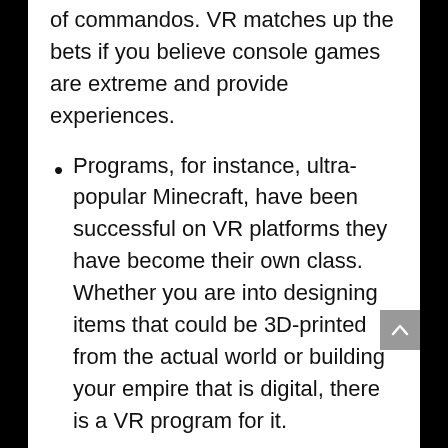of commandos. VR matches up the bets if you believe console games are extreme and provide experiences.
Programs, for instance, ultra-popular Minecraft, have been successful on VR platforms they have become their own class. Whether you are into designing items that could be 3D-printed from the actual world or building your empire that is digital, there is a VR program for it.
Tours enable you to navigate locations through history, from all around the world. Users can have a stroll through downtown New York City Ancient Rome, or even their favorite tradition